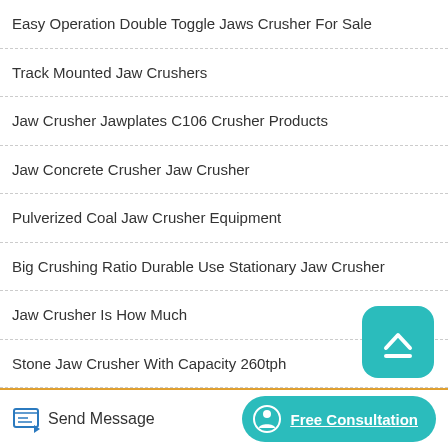Easy Operation Double Toggle Jaws Crusher For Sale
Track Mounted Jaw Crushers
Jaw Crusher Jawplates C106 Crusher Products
Jaw Concrete Crusher Jaw Crusher
Pulverized Coal Jaw Crusher Equipment
Big Crushing Ratio Durable Use Stationary Jaw Crusher
Jaw Crusher Is How Much
Stone Jaw Crusher With Capacity 260tph
Alterac Primary Jaw Crusher United States